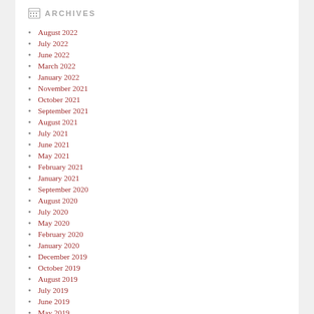ARCHIVES
August 2022
July 2022
June 2022
March 2022
January 2022
November 2021
October 2021
September 2021
August 2021
July 2021
June 2021
May 2021
February 2021
January 2021
September 2020
August 2020
July 2020
May 2020
February 2020
January 2020
December 2019
October 2019
August 2019
July 2019
June 2019
May 2019